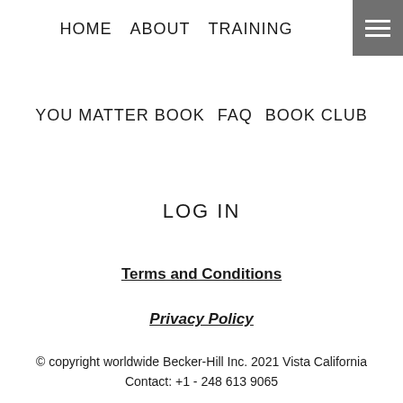HOME   ABOUT   TRAINING
YOU MATTER BOOK   FAQ   BOOK CLUB
LOG IN
Terms and Conditions
Privacy Policy
© copyright worldwide Becker-Hill Inc. 2021 Vista California Contact: +1 - 248 613 9065